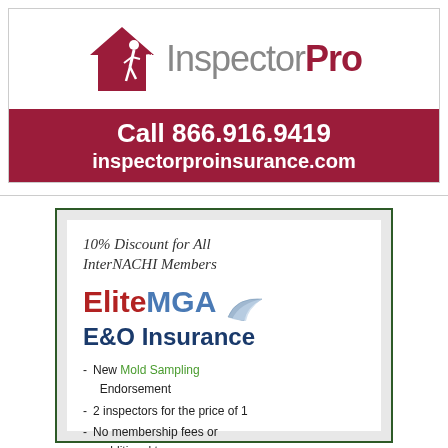[Figure (logo): InspectorPro logo with white figure inspecting a red house, and the text Inspector Pro in grey and dark red]
Call 866.916.9419
inspectorproinsurance.com
[Figure (infographic): EliteMGA E&O Insurance advertisement with 10% discount for InterNACHI members, listing: New Mold Sampling Endorsement, 2 inspectors for the price of 1, No membership fees or additional taxes, Free installment plans]